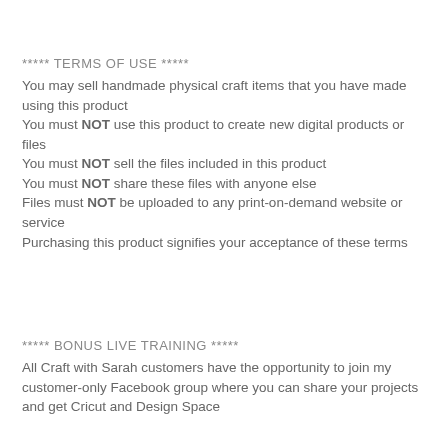***** TERMS OF USE *****
You may sell handmade physical craft items that you have made using this product
You must NOT use this product to create new digital products or files
You must NOT sell the files included in this product
You must NOT share these files with anyone else
Files must NOT be uploaded to any print-on-demand website or service
Purchasing this product signifies your acceptance of these terms
***** BONUS LIVE TRAINING *****
All Craft with Sarah customers have the opportunity to join my customer-only Facebook group where you can share your projects and get Cricut and Design Space